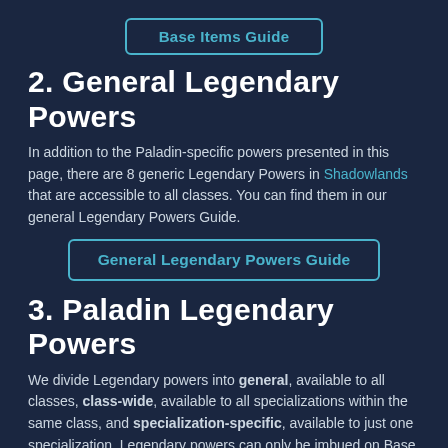Base Items Guide
2. General Legendary Powers
In addition to the Paladin-specific powers presented in this page, there are 8 generic Legendary Powers in Shadowlands that are accessible to all classes. You can find them in our general Legendary Powers Guide.
General Legendary Powers Guide
3. Paladin Legendary Powers
We divide Legendary powers into general, available to all classes, class-wide, available to all specializations within the same class, and specialization-specific, available to just one specialization. Legendary powers can only be imbued on Base Items and occupy specific armor slots, as outlined below.